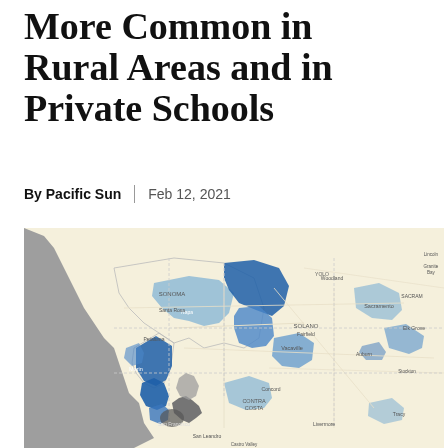More Common in Rural Areas and in Private Schools
By Pacific Sun | Feb 12, 2021
[Figure (map): Choropleth map of the San Francisco Bay Area and surrounding Northern California counties showing school districts or counties shaded in varying intensities of blue indicating frequency or prevalence of a topic (likely vaccine exemptions or similar), with darker blue indicating higher rates. Geographic features include the Pacific Ocean coast (gray), Bay Area counties including Marin, Sonoma, Napa, Solano, Contra Costa, San Francisco, and regions extending toward Sacramento. Areas labeled include SONOMA, Santa Rosa, Petaluma, SOLANO, Fairfield, Vacaville, CONTRA COSTA, Concord, Auburn, Sacramento, Woodland, El Grove, Tracy, and others.]